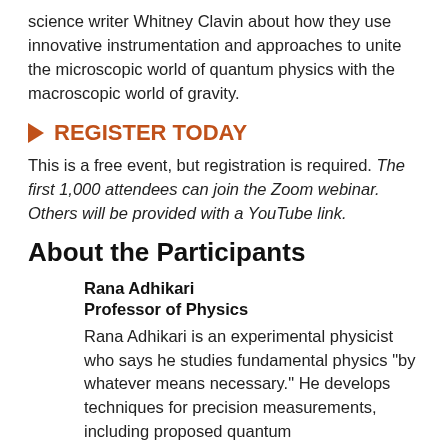science writer Whitney Clavin about how they use innovative instrumentation and approaches to unite the microscopic world of quantum physics with the macroscopic world of gravity.
▶ REGISTER TODAY
This is a free event, but registration is required. The first 1,000 attendees can join the Zoom webinar. Others will be provided with a YouTube link.
About the Participants
Rana Adhikari
Professor of Physics
Rana Adhikari is an experimental physicist who says he studies fundamental physics "by whatever means necessary." He develops techniques for precision measurements, including proposed quantum